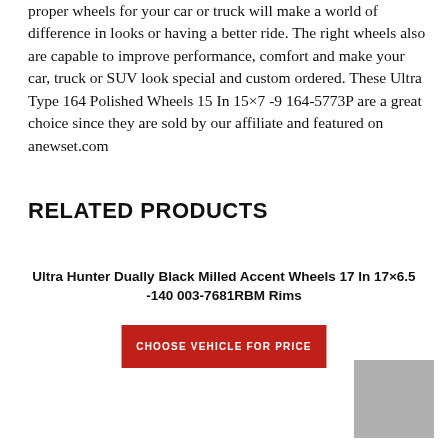proper wheels for your car or truck will make a world of difference in looks or having a better ride. The right wheels also are capable to improve performance, comfort and make your car, truck or SUV look special and custom ordered. These Ultra Type 164 Polished Wheels 15 In 15×7 -9 164-5773P are a great choice since they are sold by our affiliate and featured on anewset.com
RELATED PRODUCTS
Ultra Hunter Dually Black Milled Accent Wheels 17 In 17×6.5 -140 003-7681RBM Rims
CHOOSE VEHICLE FOR PRICE
[Figure (photo): Gray placeholder image box in bottom right corner]